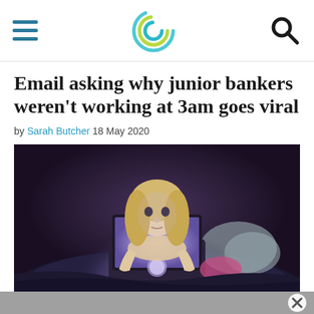[Navigation header with hamburger menu, site logo, and search icon]
Email asking why junior bankers weren't working at 3am goes viral
by Sarah Butcher 18 May 2020
[Figure (photo): Young blonde woman lying in bed using a glowing Apple MacBook laptop in a dark room, illuminated by the screen light]